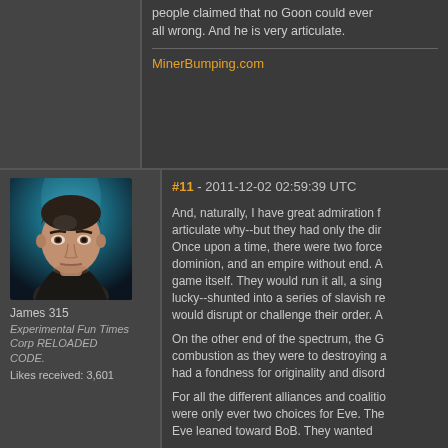people claimed that no Goon could ever... all wrong. And he is very articulate.
MinerBumping.com
[Figure (photo): Forum avatar portrait of James 315 - a 3D rendered male face with stern expression, dark clothing, teal/blue background lighting]
James 315
Experimental Fun Times Corp RELOADED CODE.
Likes received: 3,601
#11 - 2011-12-02 02:59:39 UTC
And, naturally, I have great admiration f... articulate why--but they had only the dir... Once upon a time, there were two force... dominion, and an empire without end. A... game itself. They would run it all, a sing... lucky--shunted into a series of slavish re... would disrupt or challenge their order. A...
On the other end of the spectrum, the G... combustion as they were to destroying a... had a fondness for originality and disord...
For all the different alliances and coalitio... were only ever two choices for Eve. The... Eve leaned toward BoB. They wanted...